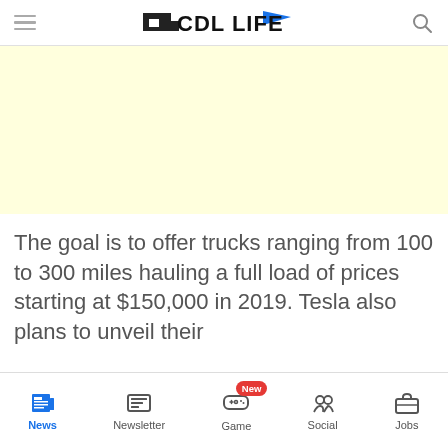CDL LIFE
[Figure (other): Advertisement banner placeholder with light yellow background]
The goal is to offer trucks ranging from 100 to 300 miles hauling a full load of prices starting at $150,000 in 2019. Tesla also plans to unveil their
News | Newsletter | Game | Social | Jobs